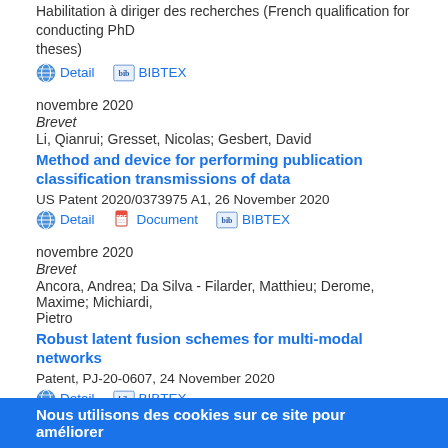Habilitation à diriger des recherches (French qualification for conducting PhD theses)
Detail   BIBTEX
novembre 2020
Brevet
Li, Qianrui; Gresset, Nicolas; Gesbert, David
Method and device for performing publication classification transmissions of data
US Patent 2020/0373975 A1, 26 November 2020
Detail   Document   BIBTEX
novembre 2020
Brevet
Ancora, Andrea; Da Silva - Filarder, Matthieu; Derome, Maxime; Michiardi, Pietro
Robust latent fusion schemes for multi-modal networks
Patent, PJ-20-0607, 24 November 2020
Detail   BIBTEX
novembre 2020
Brevet
Paramètres de confidentialité
Nous utilisons des cookies sur ce site pour améliorer